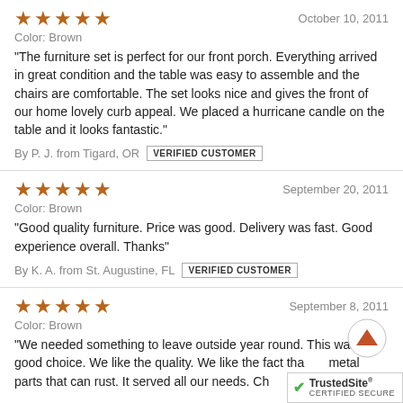★★★★★ October 10, 2011
Color: Brown
"The furniture set is perfect for our front porch. Everything arrived in great condition and the table was easy to assemble and the chairs are comfortable. The set looks nice and gives the front of our home lovely curb appeal. We placed a hurricane candle on the table and it looks fantastic."
By P. J. from Tigard, OR  VERIFIED CUSTOMER
★★★★★ September 20, 2011
Color: Brown
"Good quality furniture. Price was good. Delivery was fast. Good experience overall. Thanks"
By K. A. from St. Augustine, FL  VERIFIED CUSTOMER
★★★★★ September 8, 2011
Color: Brown
"We needed something to leave outside year round. This was a good choice. We like the quality. We like the fact that metal parts that can rust. It served all our needs. Cha